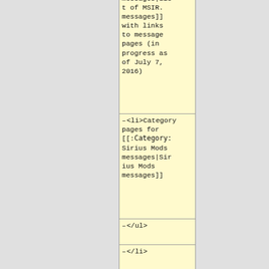of Model 104 messages#MSIR. messages|List of MSIR. messages]] with links to message pages (in progress as of July 7, 2016)
<li>Category pages for [[:Category:Sirius Mods messages|Sirius Mods messages]]
</ul>
</li>